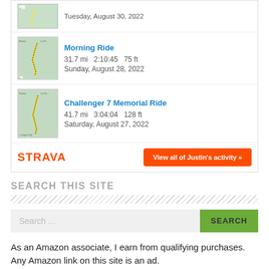[Figure (screenshot): Strava widget showing cycling activity list with map thumbnails, ride names, stats, and a view all button]
SEARCH THIS SITE
As an Amazon associate, I earn from qualifying purchases. Any Amazon link on this site is an ad.